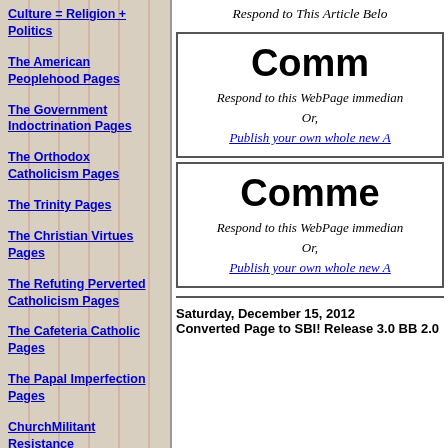Culture = Religion + Politics
The American Peoplehood Pages
The Government Indoctrination Pages
The Orthodox Catholicism Pages
The Trinity Pages
The Christian Virtues Pages
The Refuting Perverted Catholicism Pages
The Cafeteria Catholic Pages
The Papal Imperfection Pages
ChurchMilitant Resistance
Respond to This Article Below
Comm
Respond to this WebPage immedian
Or,
Publish your own whole new A
Comme
Respond to this WebPage immedian
Or,
Publish your own whole new A
Saturday, December 15, 2012
Converted Page to SBI! Release 3.0 BB 2.0